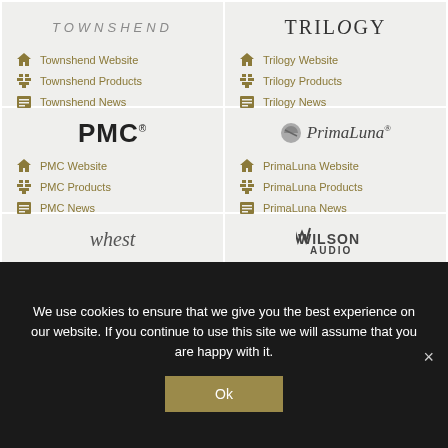Townshend Website
Townshend Products
Townshend News
Trilogy Website
Trilogy Products
Trilogy News
PMC Website
PMC Products
PMC News
PrimaLuna Website
PrimaLuna Products
PrimaLuna News
Whest Website
WA Website
We use cookies to ensure that we give you the best experience on our website. If you continue to use this site we will assume that you are happy with it.